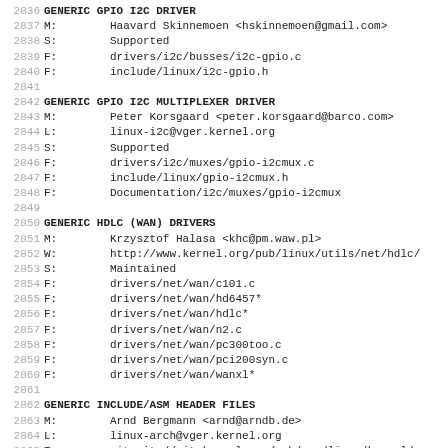2836 GENERIC GPIO I2C DRIVER
2837 M:        Haavard Skinnemoen <hskinnemoen@gmail.com>
2838 S:        Supported
2839 F:        drivers/i2c/busses/i2c-gpio.c
2840 F:        include/linux/i2c-gpio.h
2841
2842 GENERIC GPIO I2C MULTIPLEXER DRIVER
2843 M:        Peter Korsgaard <peter.korsgaard@barco.com>
2844 L:        linux-i2c@vger.kernel.org
2845 S:        Supported
2846 F:        drivers/i2c/muxes/gpio-i2cmux.c
2847 F:        include/linux/gpio-i2cmux.h
2848 F:        Documentation/i2c/muxes/gpio-i2cmux
2849
2850 GENERIC HDLC (WAN) DRIVERS
2851 M:        Krzysztof Halasa <khc@pm.waw.pl>
2852 W:        http://www.kernel.org/pub/linux/utils/net/hdlc/
2853 S:        Maintained
2854 F:        drivers/net/wan/c101.c
2855 F:        drivers/net/wan/hd6457*
2856 F:        drivers/net/wan/hdlc*
2857 F:        drivers/net/wan/n2.c
2858 F:        drivers/net/wan/pc300too.c
2859 F:        drivers/net/wan/pci200syn.c
2860 F:        drivers/net/wan/wanxl*
2861
2862 GENERIC INCLUDE/ASM HEADER FILES
2863 M:        Arnd Bergmann <arnd@arndb.de>
2864 L:        linux-arch@vger.kernel.org
2865 T:        git git://git.kernel.org/pub/scm/linux/kernel/g
2866 S:        Maintained
2867 F:        include/asm-generic